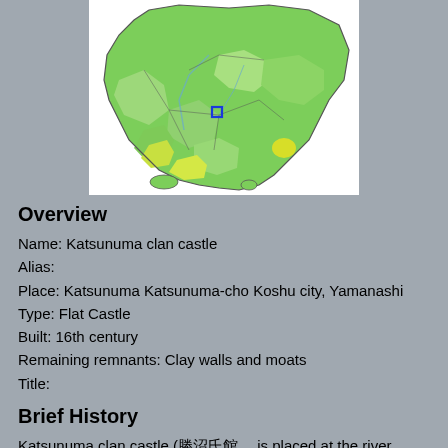[Figure (map): Topographic map of the Kanto and surrounding regions of Japan, with a blue square marker indicating the location of Katsunuma in Yamanashi prefecture.]
Overview
Name: Katsunuma clan castle
Alias:
Place: Katsunuma Katsunuma-cho Koshu city, Yamanashi
Type: Flat Castle
Built: 16th century
Remaining remnants: Clay walls and moats
Title:
Brief History
Katsunuma clan castle (勝沼氏館) is placed at the river terrace of